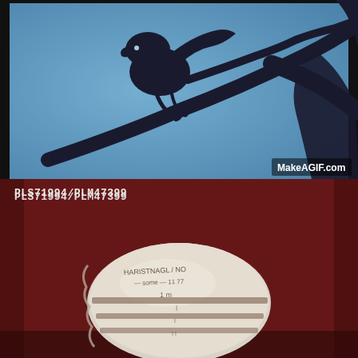[Figure (photo): Top half: a screenshot of an animated or film scene showing a dark silhouette of a creature (resembling a dinosaur or ET-like character) on a blue textured background, with a MakeAGIF.com watermark in the bottom right corner.]
[Figure (photo): Bottom half: a dark reddish-brown background with specimen label 'PLS71994/PLM47399' in white monospace text at the top left, and a blurry pale/white oval object (possibly a fossil or specimen) with dark markings/text on it, photographed against the dark background.]